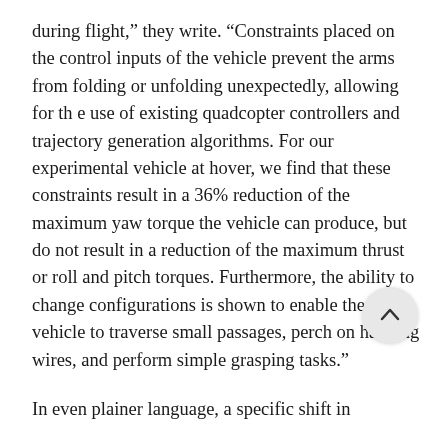during flight,” they write. “Constraints placed on the control inputs of the vehicle prevent the arms from folding or unfolding unexpectedly, allowing for the use of existing quadcopter controllers and trajectory generation algorithms. For our experimental vehicle at hover, we find that these constraints result in a 36% reduction of the maximum yaw torque the vehicle can produce, but do not result in a reduction of the maximum thrust or roll and pitch torques. Furthermore, the ability to change configurations is shown to enable the vehicle to traverse small passages, perch on hanging wires, and perform simple grasping tasks.”
In even plainer language, a specific shift in